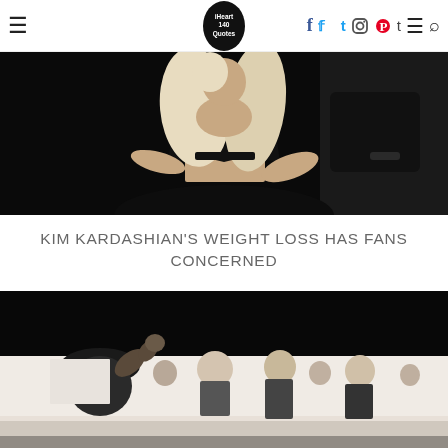iHeart140Quotes — navigation header with social icons
[Figure (photo): Photo of a woman with long blonde hair wearing a black leather crop top, standing near a dark vehicle]
KIM KARDASHIAN'S WEIGHT LOSS HAS FANS CONCERNED
[Figure (photo): Video/photo showing a group of people indoors, one man in a black cap gesturing with his hand, others standing around]